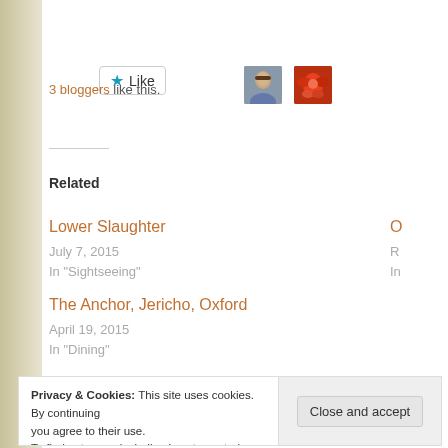[Figure (other): Like button with star icon and two avatar thumbnails (one showing a man's face, one showing a red flower/abstract image)]
3 bloggers like this.
Related
Lower Slaughter
July 7, 2015
In "Sightseeing"
The Anchor, Jericho, Oxford
April 19, 2015
In "Dining"
Privacy & Cookies: This site uses cookies. By continuing you agree to their use.
To find out more, including how to control cookies, see
Close and accept